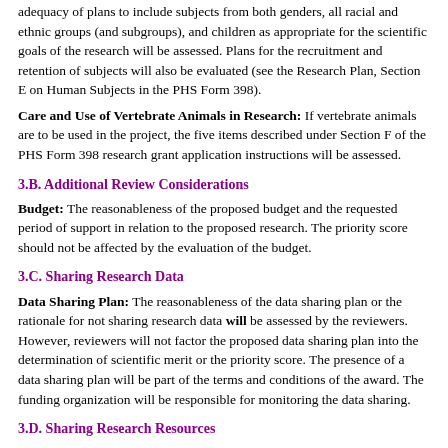adequacy of plans to include subjects from both genders, all racial and ethnic groups (and subgroups), and children as appropriate for the scientific goals of the research will be assessed. Plans for the recruitment and retention of subjects will also be evaluated (see the Research Plan, Section E on Human Subjects in the PHS Form 398).
Care and Use of Vertebrate Animals in Research: If vertebrate animals are to be used in the project, the five items described under Section F of the PHS Form 398 research grant application instructions will be assessed.
3.B. Additional Review Considerations
Budget: The reasonableness of the proposed budget and the requested period of support in relation to the proposed research. The priority score should not be affected by the evaluation of the budget.
3.C. Sharing Research Data
Data Sharing Plan: The reasonableness of the data sharing plan or the rationale for not sharing research data will be assessed by the reviewers. However, reviewers will not factor the proposed data sharing plan into the determination of scientific merit or the priority score. The presence of a data sharing plan will be part of the terms and conditions of the award. The funding organization will be responsible for monitoring the data sharing.
3.D. Sharing Research Resources
NIH policy requires that grant awardee recipients make unique research resources readily available for research purposes to qualified individuals within the scientific community after publication. NIH Grants Policy Statement https://grants.nih.gov/grants/policy/nihgps and